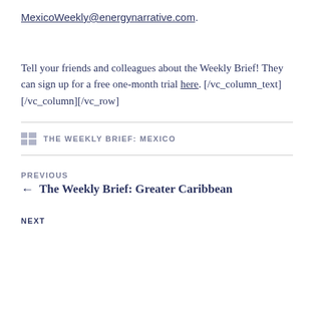MexicoWeekly@energynarrative.com.
Tell your friends and colleagues about the Weekly Brief! They can sign up for a free one-month trial here. [/vc_column_text][/vc_column][/vc_row]
THE WEEKLY BRIEF: MEXICO
PREVIOUS
← The Weekly Brief: Greater Caribbean
NEXT